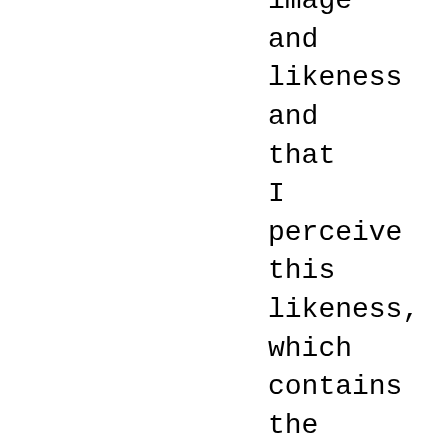image and likeness and that I perceive this likeness, which contains the idea of God, by the same faculty with which I